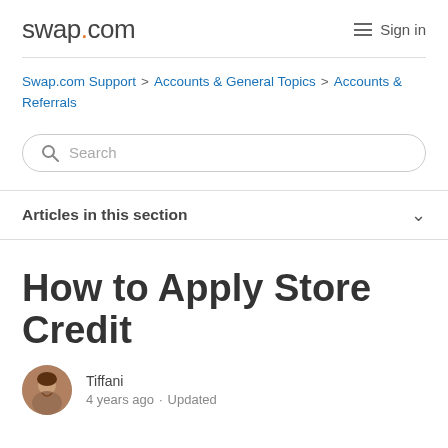swap.com  Sign in
Swap.com Support > Accounts & General Topics > Accounts & Referrals
[Figure (other): Search input box with magnifying glass icon and placeholder text 'Search']
Articles in this section
How to Apply Store Credit
Tiffani  4 years ago · Updated